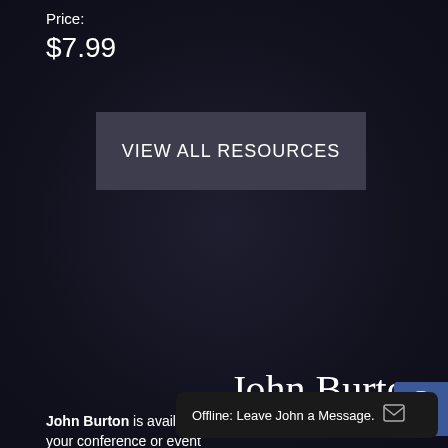Price:
$7.99
VIEW ALL RESOURCES
John Burton
John Burton is available ... your conference or event
Offline: Leave John a Message.